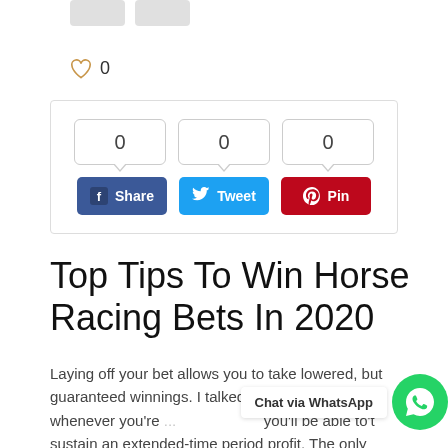[Figure (other): Two small grey placeholder buttons at top]
[Figure (other): Heart/like icon with count 0]
[Figure (other): Social share box with counters (0, 0, 0) and Share, Tweet, Pin buttons]
Top Tips To Win Horse Racing Bets In 2020
Laying off your bet allows you to take lowered, but guaranteed winnings. I talked about earli... that whenever you're ... you'll be able to't sustain an extended-time period profit. The only exception to that is sports betting because although you are betting in